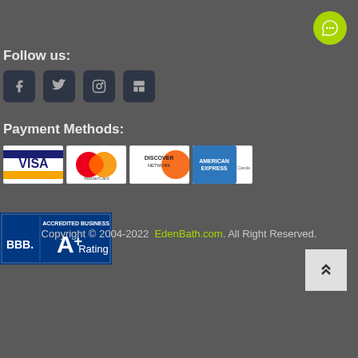[Figure (illustration): Green circular chat bubble icon in the top right corner]
Follow us:
[Figure (illustration): Four social media icon buttons: Facebook, Twitter, Instagram, Houzz — dark rounded square buttons]
Payment Methods:
[Figure (illustration): Payment method logos: Visa, MasterCard, Discover Network, American Express]
[Figure (illustration): BBB Accredited Business A+ Rating badge]
[Figure (illustration): Scroll to top button with double up chevron arrows]
Copyright © 2004-2022  EdenBath.com. All Right Reserved.